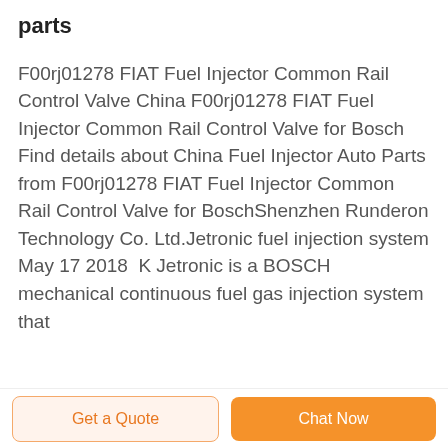parts
F00rj01278 FIAT Fuel Injector Common Rail Control Valve China F00rj01278 FIAT Fuel Injector Common Rail Control Valve for Bosch Find details about China Fuel Injector Auto Parts from F00rj01278 FIAT Fuel Injector Common Rail Control Valve for BoschShenzhen Runderon Technology Co. Ltd.Jetronic fuel injection system May 17 2018  K Jetronic is a BOSCH mechanical continuous fuel gas injection system that
Get a Quote  Chat Now